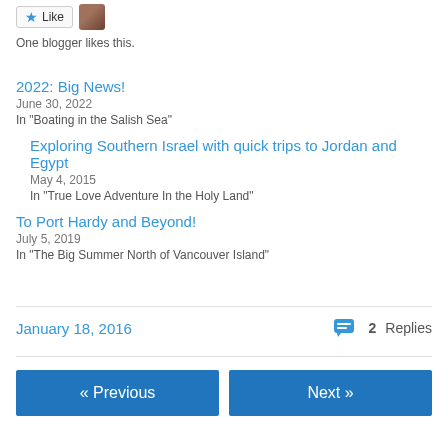[Figure (other): Like button with star icon and user avatar thumbnail]
One blogger likes this.
2022: Big News!
June 30, 2022
In "Boating in the Salish Sea"
Exploring Southern Israel with quick trips to Jordan and Egypt
May 4, 2015
In "True Love Adventure In the Holy Land"
To Port Hardy and Beyond!
July 5, 2019
In "The Big Summer North of Vancouver Island"
January 18, 2016
2 Replies
« Previous
Next »